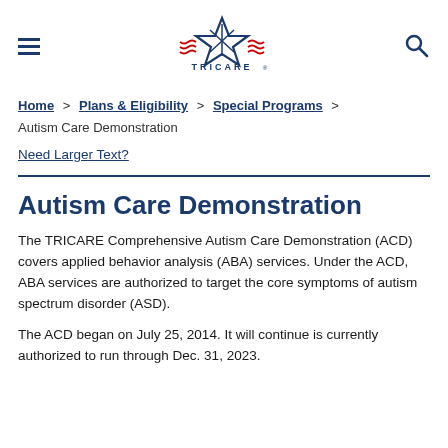TRICARE [logo with navigation hamburger and search icon]
Home > Plans & Eligibility > Special Programs > Autism Care Demonstration
Need Larger Text?
Autism Care Demonstration
The TRICARE Comprehensive Autism Care Demonstration (ACD) covers applied behavior analysis (ABA) services. Under the ACD, ABA services are authorized to target the core symptoms of autism spectrum disorder (ASD).
The ACD began on July 25, 2014. It will continue is currently authorized to run through Dec. 31, 2023.